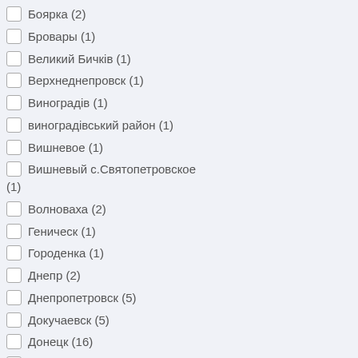Боярка (2)
Бровары (1)
Великий Бичків (1)
Верхнеднепровск (1)
Виноградів (1)
виноградівський район (1)
Вишневое (1)
Вишневый с.Святопетровское (1)
Волноваха (2)
Геническ (1)
Городенка (1)
Днепр (2)
Днепропетровск (5)
Докучаевск (5)
Донецк (16)
Дрогобыч (1)
Дубай (1)
Дубно (2)
Душанбе (1)
Ереван (1)